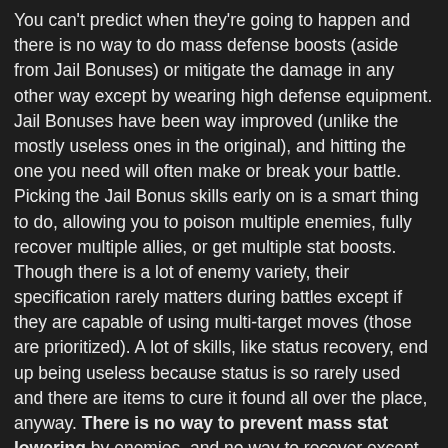You can't predict when they're going to happen and there is no way to do mass defense boosts (aside from Jail Bonuses) or mitigate the damage in any other way except by wearing high defense equipment. Jail Bonuses have been way improved (unlike the mostly useless ones in the original), and hitting the one you need will often make or break your battle. Picking the Jail Bonus skills early on is a smart thing to do, allowing you to poison multiple enemies, fully recover multiple allies, or get multiple stat boosts. Though there is a lot of enemy variety, their specification rarely matters during battles except if they are capable of using multi-target moves (those are prioritized). A lot of skills, like status recovery, end up being useless because status is so rarely used and there are items to cure it found all over the place, anyway. There is no way to prevent mass stat lowering by enemies, and no way to recover except again, by lucky Jail Bonuses. But this really only becomes relevant in the last dungeon.
Some important new features include Blood Farming, which allows you to plant Blood Crystals at certain places on the map, that will turn into